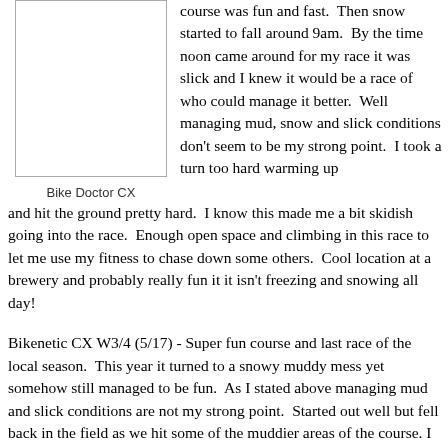course was fun and fast.  Then snow started to fall around 9am.  By the time noon came around for my race it was slick and I knew it would be a race of who could manage it better.  Well managing mud, snow and slick conditions don't seem to be my strong point.  I took a turn too hard warming up and hit the ground pretty hard.  I know this made me a bit skidish going into the race.  Enough open space and climbing in this race to let me use my fitness to chase down some others.  Cool location at a brewery and probably really fun it it isn't freezing and snowing all day!
[Figure (photo): Bike Doctor CX photo placeholder]
Bike Doctor CX
Bikenetic CX W3/4 (5/17) - Super fun course and last race of the local season.  This year it turned to a snowy muddy mess yet somehow still managed to be fun.  As I stated above managing mud and slick conditions are not my strong point.  Started out well but fell back in the field as we hit some of the muddier areas of the course. I Was surprised to see that I held on for a podium spot.